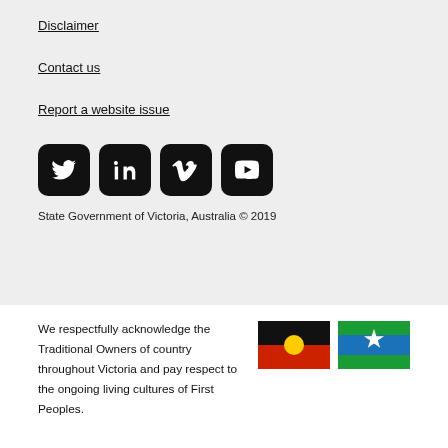Disclaimer
Contact us
Report a website issue
[Figure (infographic): Four social media icons: Twitter, LinkedIn, Vimeo, YouTube — black rounded square buttons]
State Government of Victoria, Australia © 2019
We respectfully acknowledge the Traditional Owners of country throughout Victoria and pay respect to the ongoing living cultures of First Peoples.
[Figure (illustration): Aboriginal flag and Torres Strait Islander flag side by side]